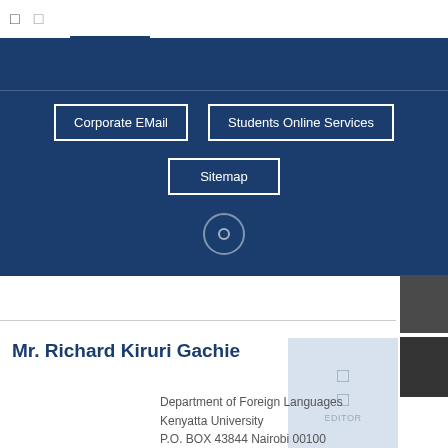Corporate EMail | Students Online Services | Sitemap
[Figure (screenshot): Blue banner navigation section with buttons: Corporate EMail, Students Online Services, Sitemap, and a circular icon below]
Mr. Richard Kiruri Gachie
Department of Foreign Languages
Kenyatta University
P.O. BOX 43844 Nairobi 00100